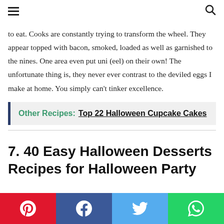[hamburger menu icon] [search icon]
to eat. Cooks are constantly trying to transform the wheel. They appear topped with bacon, smoked, loaded as well as garnished to the nines. One area even put uni (eel) on their own! The unfortunate thing is, they never ever contrast to the deviled eggs I make at home. You simply can't tinker excellence.
Other Recipes: Top 22 Halloween Cupcake Cakes
7. 40 Easy Halloween Desserts Recipes for Halloween Party
[Figure (infographic): Social media share bar with Pinterest (red), Facebook (dark blue), Twitter (light blue), WhatsApp (green) buttons]